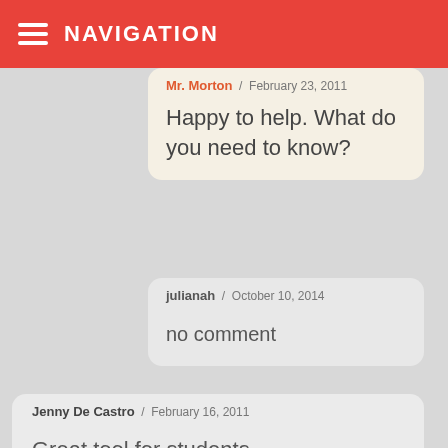NAVIGATION
Mr. Morton / February 23, 2011 — Happy to help. What do you need to know?
julianah / October 10, 2014 — no comment
Jenny De Castro / February 16, 2011 — Great tool for students